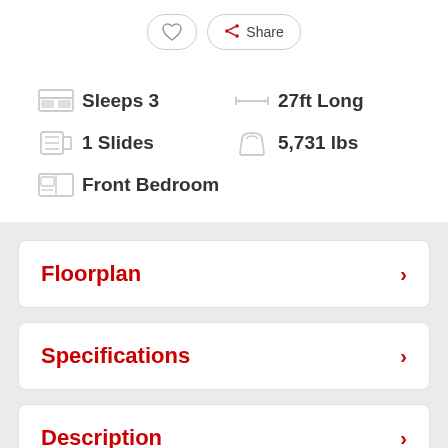♡ (heart button)
Share
Sleeps 3
27ft Long
1 Slides
5,731 lbs
Front Bedroom
Floorplan
Specifications
Description
Features